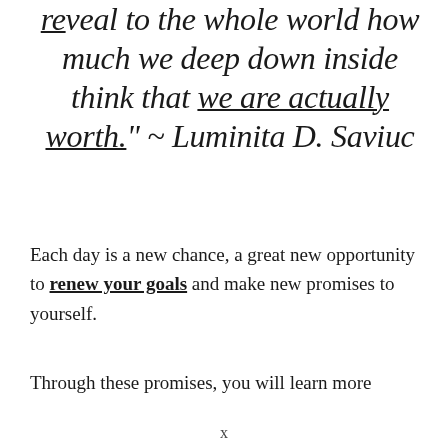reveal to the whole world how much we deep down inside think that we are actually worth." ~ Luminita D. Saviuc
Each day is a new chance, a great new opportunity to renew your goals and make new promises to yourself.
Through these promises, you will learn more
x